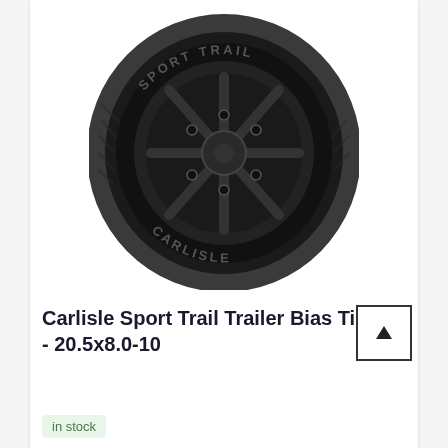[Figure (photo): Carlisle Sport Trail trailer tire with black multi-spoke wheel, showing the tire tread and sidewall markings including 'SPORT TRAIL' and 'CARLISLE' branding, on white background]
Carlisle Sport Trail Trailer Bias Tire - 20.5x8.0-10
in stock